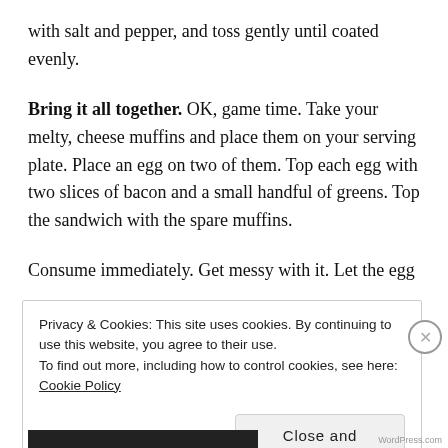with salt and pepper, and toss gently until coated evenly.
Bring it all together. OK, game time. Take your melty, cheese muffins and place them on your serving plate. Place an egg on two of them. Top each egg with two slices of bacon and a small handful of greens. Top the sandwich with the spare muffins.
Consume immediately. Get messy with it. Let the egg
Privacy & Cookies: This site uses cookies. By continuing to use this website, you agree to their use.
To find out more, including how to control cookies, see here: Cookie Policy
Close and accept